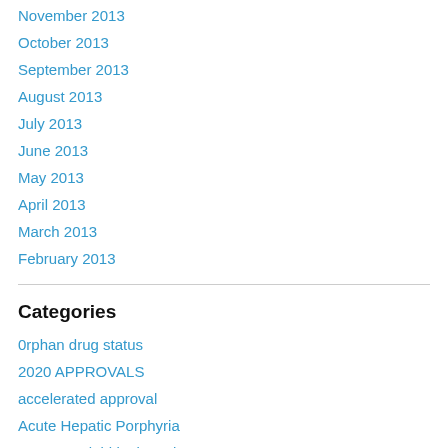November 2013
October 2013
September 2013
August 2013
July 2013
June 2013
May 2013
April 2013
March 2013
February 2013
Categories
0rphan drug status
2020 APPROVALS
accelerated approval
Acute Hepatic Porphyria
Acute myeloid leukaemia
African medicine